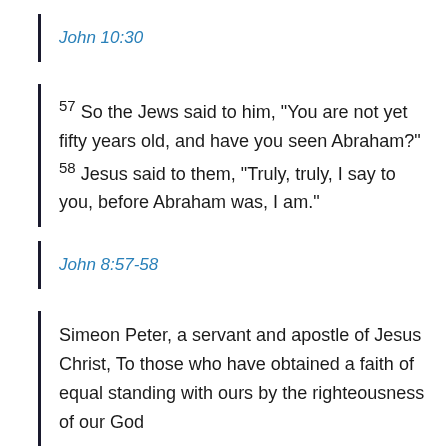John 10:30
57 So the Jews said to him, “You are not yet fifty years old, and have you seen Abraham?” 58 Jesus said to them, “Truly, truly, I say to you, before Abraham was, I am.”
John 8:57-58
Simeon Peter, a servant and apostle of Jesus Christ, To those who have obtained a faith of equal standing with ours by the righteousness of our God